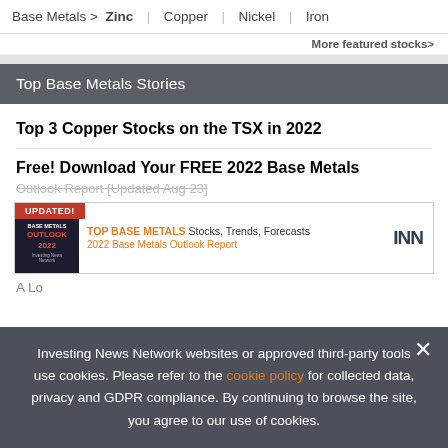Base Metals > Zinc | Copper | Nickel | Iron
More featured stocks>
Top Base Metals Stories
Top 3 Copper Stocks on the TSX in 2022
Free! Download Your FREE 2022 Base Metals
Outlook Report [Updated Aug 23]
[Figure (infographic): UPDATED! banner with Base Metals Outlook 2022 report cover image. Text: TOP BASE METALS Stocks, Trends, Forecasts / 2022 Base Metals Outlook Report. INN logo on right.]
A Lo...
Investing News Network websites or approved third-party tools use cookies. Please refer to the cookie policy for collected data, privacy and GDPR compliance. By continuing to browse the site, you agree to our use of cookies.